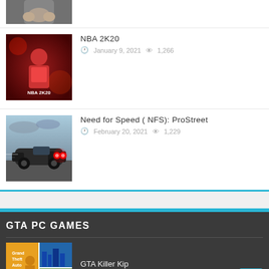[Figure (photo): Partial thumbnail of a person with hands near face - top of page, cropped]
NBA 2K20 — January 9, 2021 — 1,266 views
[Figure (photo): NBA 2K20 game cover with player in red outfit]
Need for Speed (NFS): ProStreet — February 20, 2021 — 1,229 views
[Figure (photo): Need for Speed ProStreet car with glowing red eyes in dark setting]
GTA PC GAMES
GTA Killer Kip — 4 weeks ago
[Figure (photo): GTA game collage thumbnail]
GTA San Vice
[Figure (photo): GTA San Vice thumbnail - partially visible]